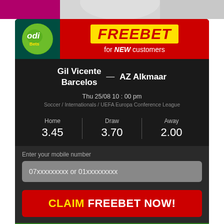[Figure (photo): Top banner photo strip showing sports/person imagery with pink/purple background]
[Figure (logo): OdiBets logo - green circle with 'odi' text in white italic and 'Bets' in yellow, on dark green background]
FREEBET for NEW customers
Gil Vicente Barcelos — AZ Alkmaar
Thu 25/08 10 : 00 pm
Soccer / Internationals / UEFA Europa Conference League
| Home | Draw | Away |
| --- | --- | --- |
| 3.45 | 3.70 | 2.00 |
Enter your mobile number
07xxxxxxxxx or 01xxxxxxxxx
CLAIM FREEBET NOW!
Sports Betting   LIVE  In-Play   OdiLeague